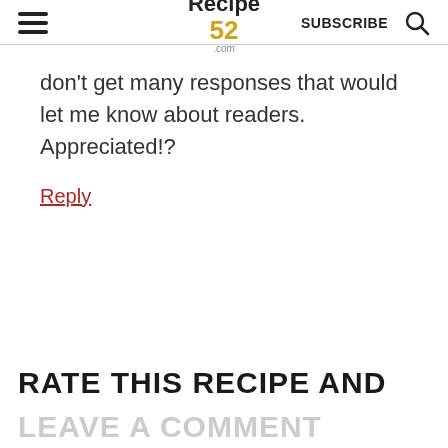Recipe 52 .com | SUBSCRIBE
don't get many responses that would let me know about readers. Appreciated!?
Reply
RATE THIS RECIPE AND
LEAVE A COMMENT